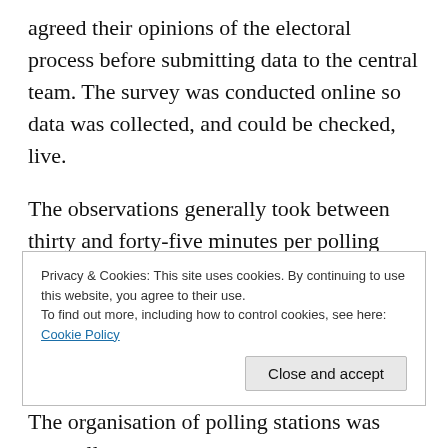agreed their opinions of the electoral process before submitting data to the central team. The survey was conducted online so data was collected, and could be checked, live.
The observations generally took between thirty and forty-five minutes per polling station as the observers were asked to ensure that they attempted to see the entire process, which
Privacy & Cookies: This site uses cookies. By continuing to use this website, you agree to their use.
To find out more, including how to control cookies, see here: Cookie Policy
[Close and accept]
The organisation of polling stations was generally